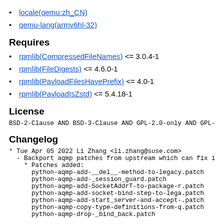locale(qemu:zh_CN)
qemu-lang(armv6hl-32)
Requires
rpmlib(CompressedFileNames) <= 3.0.4-1
rpmlib(FileDigests) <= 4.6.0-1
rpmlib(PayloadFilesHavePrefix) <= 4.0-1
rpmlib(PayloadIsZstd) <= 5.4.18-1
License
BSD-2-Clause AND BSD-3-Clause AND GPL-2.0-only AND GPL-2
Changelog
* Tue Apr 05 2022 Li Zhang <li.zhang@suse.com>
  - Backport aqmp patches from upstream which can fix io
    * Patches added:
      python-aqmp-add-__del__-method-to-legacy.patch
      python-aqmp-add-_session_guard.patch
      python-aqmp-add-SocketAddrT-to-package-r.patch
      python-aqmp-add-socket-bind-step-to-lega.patch
      python-aqmp-add-start_server-and-accept-.patch
      python-aqmp-copy-type-definitions-from-q.patch
      python-aqmp-drop-_bind_back.patch